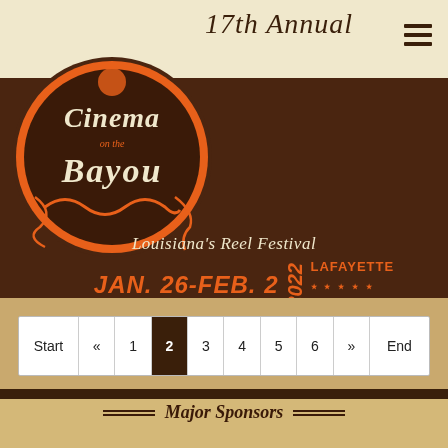17th Annual
[Figure (logo): Cinema on the Bayou festival logo — orange decorative lettering on dark background]
Louisiana's Reel Festival
JAN. 26-FEB. 2  2022  LAFAYETTE ★★★★★ LOUISIANA
Page navigation: Start « 1 2 3 4 5 6 » End
Major Sponsors